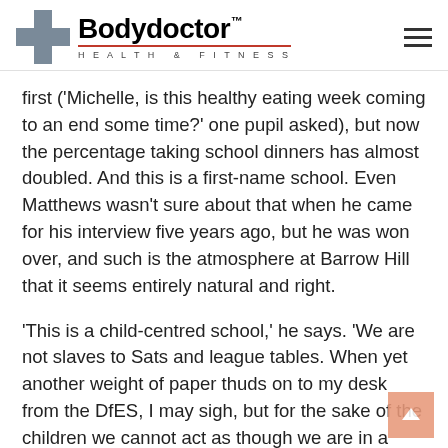[Figure (logo): Bodydoctor Health & Fitness logo with grey cross/plus symbol and red underline beneath the brand name, with hamburger menu icon on the right]
first ('Michelle, is this healthy eating week coming to an end some time?' one pupil asked), but now the percentage taking school dinners has almost doubled. And this is a first-name school. Even Matthews wasn't sure about that when he came for his interview five years ago, but he was won over, and such is the atmosphere at Barrow Hill that it seems entirely natural and right.
'This is a child-centred school,' he says. 'We are not slaves to Sats and league tables. When yet another weight of paper thuds on to my desk from the DfES, I may sigh, but for the sake of the children we cannot act as though we are in a straitjacket. Our aim is to